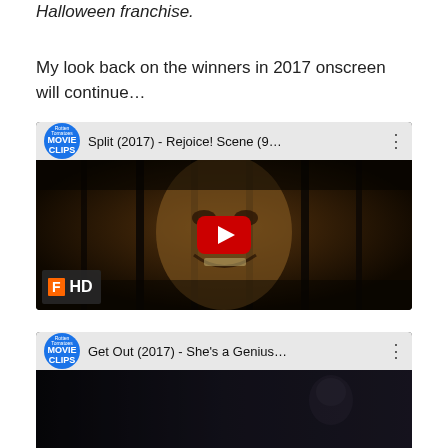Halloween franchise.
My look back on the winners in 2017 onscreen will continue…
[Figure (screenshot): YouTube video thumbnail for 'Split (2017) - Rejoice! Scene (9...' from Rotten Tomatoes Movie Clips channel, showing a menacing face behind bars with a YouTube play button overlay and FHD badge in the corner.]
[Figure (screenshot): YouTube video thumbnail for 'Get Out (2017) - She's a Genius...' from Rotten Tomatoes Movie Clips channel, showing a dark scene with a woman's face partially visible.]